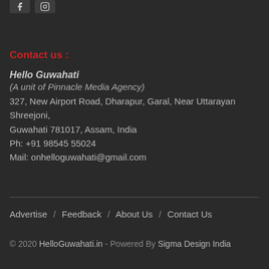[Figure (other): Social media icon buttons (Facebook and Instagram) as small dark rounded rectangles]
Contact us :
Hello Guwahati
(A unit of Pinnacle Media Agency)
327, New Airport Road, Dharapur, Garal, Near Uttarayan Shreejoni, Guwahati 781017, Assam, India
Ph: +91 98545 55024
Mail: onhelloguwahati@gmail.com
Advertise / Feedback / About Us / Contact Us
© 2020 HelloGuwahati.in - Powered By Sigma Design India